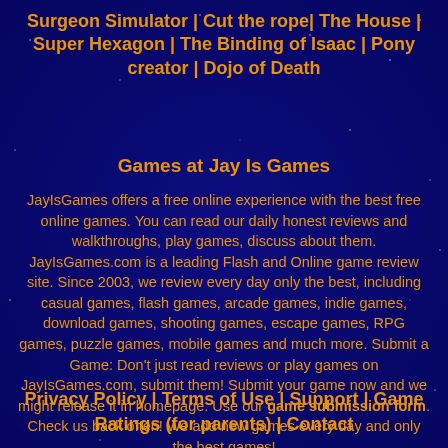Surgeon Simulator | Cut the rope| The House | Super Hexagon | The Binding of Isaac | Pony creator | Dojo of Death
Games at Jay Is Games
JayIsGames offers a free online experience with the best free online games. You can read our daily honest reviews and walkthroughs, play games, discuss about them. JayIsGames.com is a leading Flash and Online game review site. Since 2003, we review every day only the best, including casual games, flash games, arcade games, indie games, download games, shooting games, escape games, RPG games, puzzle games, mobile games and much more. Submit a Game: Don't just read reviews or play games on JayIsGames.com, submit them! Submit your game now and we might release it in homepage. Use our game submission form. Check us back often! We add new games every day and only the best games!
Privacy Policy | Terms of Use | Support | Game Ratings (for parents) | Contact